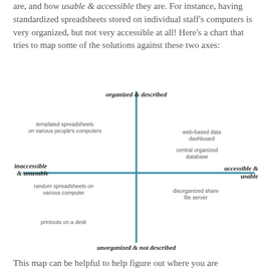are, and how usable & accessible they are. For instance, having standardized spreadsheets stored on individual staff's computers is very organized, but not very accessible at all! Here's a chart that tries to map some of the solutions against these two axes:
[Figure (scatter-plot): A four-quadrant chart with vertical axis labeled 'organized & described' (top) and 'unorganized & not described' (bottom), and horizontal axis labeled 'inaccessible & unusable' (left) and 'accessible & usable' (right). Items plotted: top-left: 'templated spreadsheets on various people's computers'; top-right: 'web-based data dashboard', 'central organized database'; bottom-left: 'random spreadsheets on various computer', 'printouts on a desk'; bottom-right: 'disorganized share file server'.]
This map can be helpful to help figure out where you are